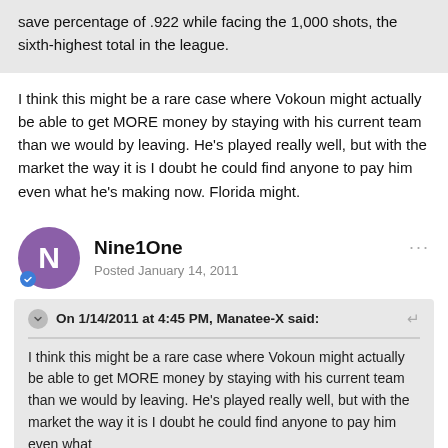save percentage of .922 while facing the 1,000 shots, the sixth-highest total in the league.
I think this might be a rare case where Vokoun might actually be able to get MORE money by staying with his current team than we would by leaving. He's played really well, but with the market the way it is I doubt he could find anyone to pay him even what he's making now. Florida might.
Nine1One
Posted January 14, 2011
On 1/14/2011 at 4:45 PM, Manatee-X said:
I think this might be a rare case where Vokoun might actually be able to get MORE money by staying with his current team than we would by leaving. He's played really well, but with the market the way it is I doubt he could find anyone to pay him even what